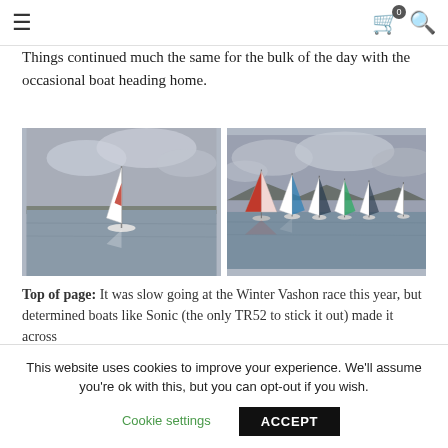Navigation bar with hamburger menu, cart (0), and search icons
Things continued much the same for the bulk of the day with the occasional boat heading home.
[Figure (photo): Single sailboat with white and red sail on calm grey water with hills in background]
[Figure (photo): Fleet of sailboats with colorful spinnakers racing on grey water under cloudy sky]
Top of page: It was slow going at the Winter Vashon race this year, but determined boats like Sonic (the only TR52 to stick it out) made it across
This website uses cookies to improve your experience. We'll assume you're ok with this, but you can opt-out if you wish.
Cookie settings  ACCEPT